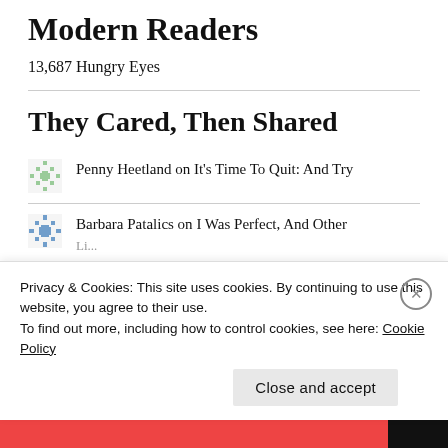Modern Readers
13,687 Hungry Eyes
They Cared, Then Shared
Penny Heetland on It's Time To Quit: And Try
Barbara Patalics on I Was Perfect, And Other Li...
Privacy & Cookies: This site uses cookies. By continuing to use this website, you agree to their use.
To find out more, including how to control cookies, see here: Cookie Policy
Close and accept